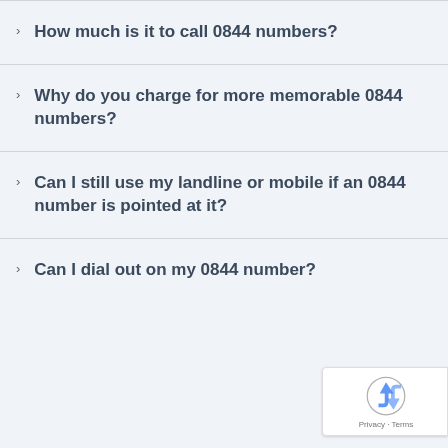How much is it to call 0844 numbers?
Why do you charge for more memorable 0844 numbers?
Can I still use my landline or mobile if an 0844 number is pointed at it?
Can I dial out on my 0844 number?
[Figure (logo): Google reCAPTCHA badge with Privacy and Terms links]